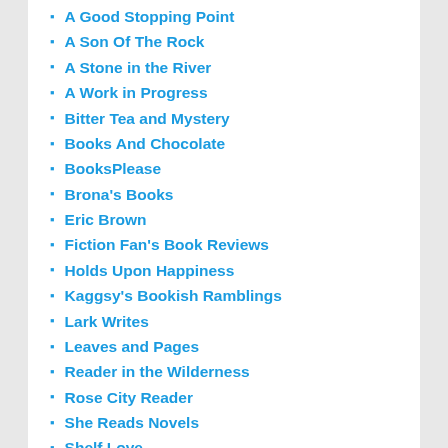A Good Stopping Point
A Son Of The Rock
A Stone in the River
A Work in Progress
Bitter Tea and Mystery
Books And Chocolate
BooksPlease
Brona's Books
Eric Brown
Fiction Fan's Book Reviews
Holds Upon Happiness
Kaggsy's Bookish Ramblings
Lark Writes
Leaves and Pages
Reader in the Wilderness
Rose City Reader
She Reads Novels
Shelf Love
Staircase Wit
TBR 313
The Book Jotter